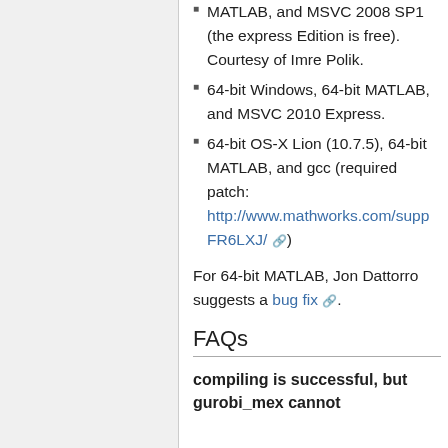64-bit Windows, 64-bit MATLAB, and MSVC 2008 SP1 (the express Edition is free). Courtesy of Imre Polik.
64-bit Windows, 64-bit MATLAB, and MSVC 2010 Express.
64-bit OS-X Lion (10.7.5), 64-bit MATLAB, and gcc (required patch: http://www.mathworks.com/supp FR6LXJ/ )
For 64-bit MATLAB, Jon Dattorro suggests a bug fix.
FAQs
compiling is successful, but gurobi_mex cannot